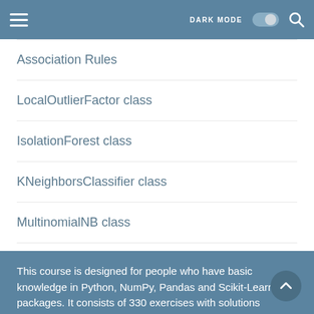DARK MODE [toggle] [search]
Association Rules
LocalOutlierFactor class
IsolationForest class
KNeighborsClassifier class
MultinomialNB class
GradientBoostingRegressor class
This course is designed for people who have basic knowledge in Python, NumPy, Pandas and Scikit-Learn packages. It consists of 330 exercises with solutions